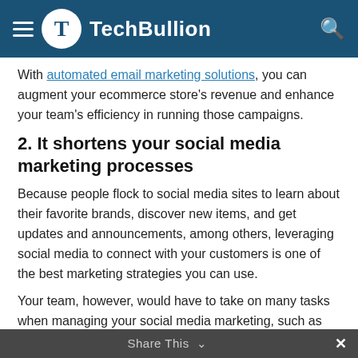TechBullion
With automated email marketing solutions, you can augment your ecommerce store's revenue and enhance your team's efficiency in running those campaigns.
2. It shortens your social media marketing processes
Because people flock to social media sites to learn about their favorite brands, discover new items, and get updates and announcements, among others, leveraging social media to connect with your customers is one of the best marketing strategies you can use.
Your team, however, would have to take on many tasks when managing your social media marketing, such as frequently posting different content types, monitoring analytics, replying to questions, and more.
Share This ×